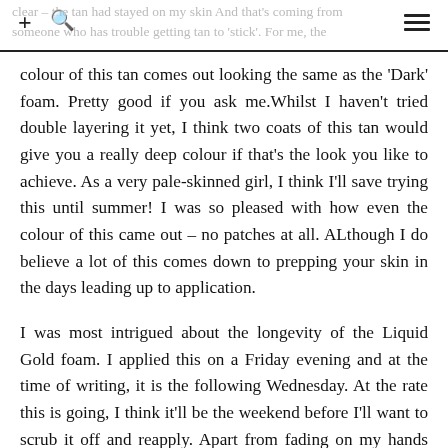clear – the tan had stayed on my skin And that's coming from someone who has trouble getting tan to 'stick'. For me, the
colour of this tan comes out looking the same as the 'Dark' foam. Pretty good if you ask me.Whilst I haven't tried double layering it yet, I think two coats of this tan would give you a really deep colour if that's the look you like to achieve. As a very pale-skinned girl, I think I'll save trying this until summer! I was so pleased with how even the colour of this came out – no patches at all. ALthough I do believe a lot of this comes down to prepping your skin in the days leading up to application.
I was most intrigued about the longevity of the Liquid Gold foam. I applied this on a Friday evening and at the time of writing, it is the following Wednesday. At the rate this is going, I think it'll be the weekend before I'll want to scrub it off and reapply. Apart from fading on my hands (evenly, I should add), the tan still looks pretty flawless apart from some fading on my inner elbows. It's no surprise though, as